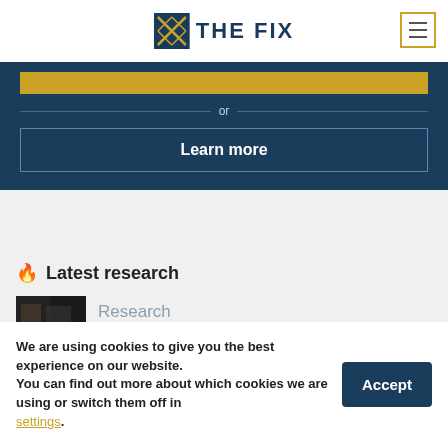THE FIX
[Figure (other): Gold button (partially visible) at top of dark blue section]
or
Learn more
Latest research
[Figure (photo): Small thumbnail image of people, dark tones]
Research
We are using cookies to give you the best experience on our website.
You can find out more about which cookies we are using or switch them off in settings.